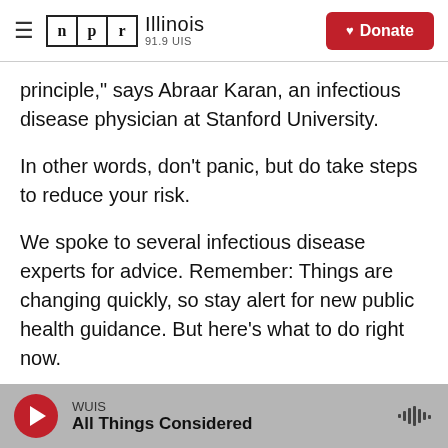NPR Illinois 91.9 UIS | Donate
principle," says Abraar Karan, an infectious disease physician at Stanford University.
In other words, don't panic, but do take steps to reduce your risk.
We spoke to several infectious disease experts for advice. Remember: Things are changing quickly, so stay alert for new public health guidance. But here's what to do right now.
Get a booster ASAP
WUIS | All Things Considered